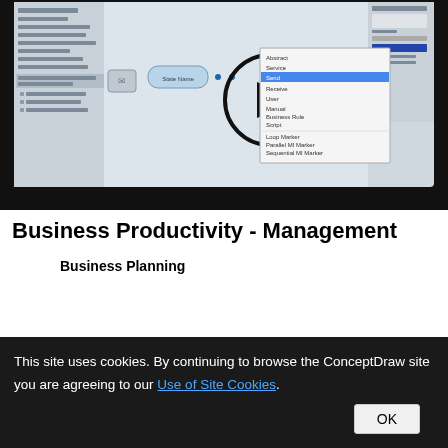[Figure (screenshot): Screenshot of a software application (ConceptDraw or similar BPMN diagramming tool) showing a left panel with process elements and a main canvas area with a context menu open listing task types including Abstract, Service, Send, Receive, User, Manual, Business Rule, Script, Loop Marker, Parallel MI Marker, Sequential MI Marker, Compensation Marker, Combined Compensation and Loop Characteristics. A play button overlay is centered on the screenshot indicating a video thumbnail.]
Business Productivity - Management
Business Planning
This site uses cookies. By continuing to browse the ConceptDraw site you are agreeing to our Use of Site Cookies.